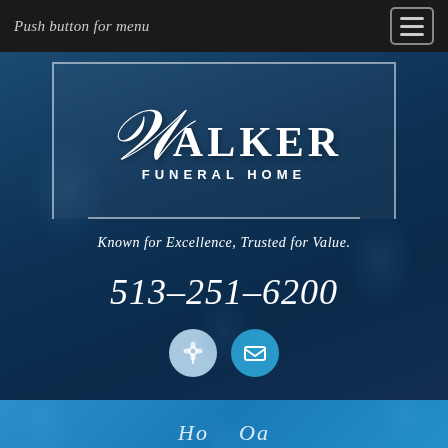Push button for menu
[Figure (logo): Walker Funeral Home logo — stylized cursive W with WALKER text and FUNERAL HOME subtitle, white on dark blue, inside a bordered box]
Known for Excellence, Trusted for Value.
513-251-6200
[Figure (infographic): Two circular icon buttons: a light blue circle with a flower/location icon, and a teal circle with an envelope/mail icon]
Ho... Oa...